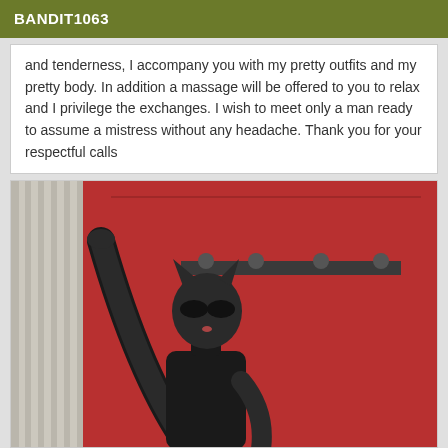BANDIT1063
and tenderness, I accompany you with my pretty outfits and my pretty body. In addition a massage will be offered to you to relax and I privilege the exchanges. I wish to meet only a man ready to assume a mistress without any headache. Thank you for your respectful calls
[Figure (photo): Person wearing a black latex catwoman-style costume with mask and long gloves, posing with one arm raised against a red door with coat hooks]